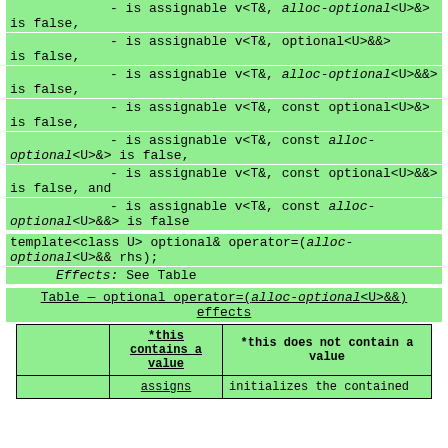- is assignable v<T&, alloc-optional<U>&> is false,
- is assignable v<T&, optional<U>&&> is false,
- is assignable v<T&, alloc-optional<U>&&> is false,
- is assignable v<T&, const optional<U>&> is false,
- is assignable v<T&, const alloc-optional<U>&> is false,
- is assignable v<T&, const optional<U>&&> is false, and
- is assignable v<T&, const alloc-optional<U>&&> is false
template<class U> optional& operator=(alloc-optional<U>&& rhs);
Effects: See Table
Table — optional operator=(alloc-optional<U>&&) effects
|  | *this contains a value | *this does not contain a value |
| --- | --- | --- |
|  | assigns | initializes the contained |